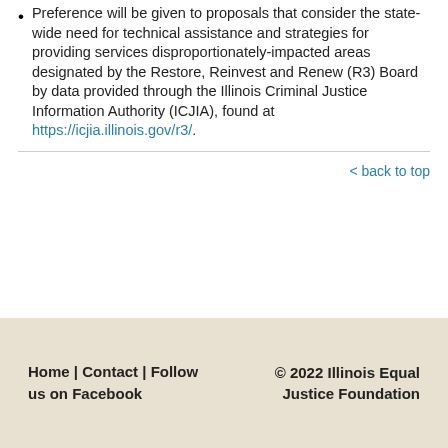Preference will be given to proposals that consider the state-wide need for technical assistance and strategies for providing services disproportionately-impacted areas designated by the Restore, Reinvest and Renew (R3) Board by data provided through the Illinois Criminal Justice Information Authority (ICJIA), found at https://icjia.illinois.gov/r3/.
< back to top
Home | Contact | Follow us on Facebook   © 2022 Illinois Equal Justice Foundation